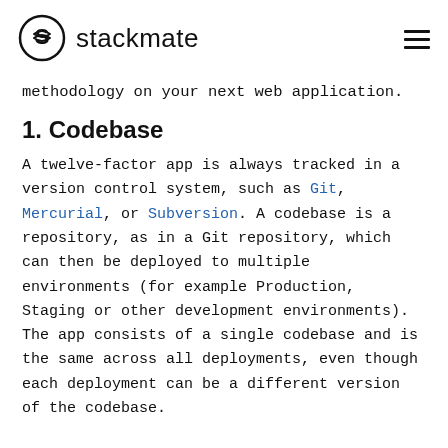stackmate
methodology on your next web application.
1. Codebase
A twelve-factor app is always tracked in a version control system, such as Git, Mercurial, or Subversion. A codebase is a repository, as in a Git repository, which can then be deployed to multiple environments (for example Production, Staging or other development environments). The app consists of a single codebase and is the same across all deployments, even though each deployment can be a different version of the codebase.